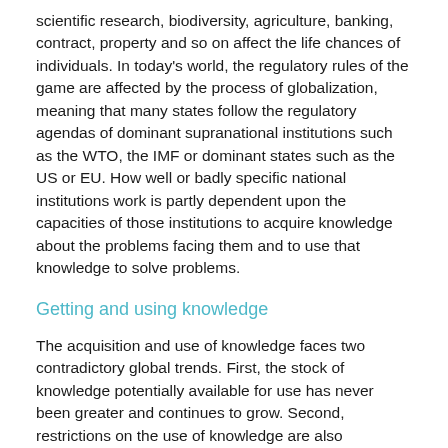scientific research, biodiversity, agriculture, banking, contract, property and so on affect the life chances of individuals. In today's world, the regulatory rules of the game are affected by the process of globalization, meaning that many states follow the regulatory agendas of dominant supranational institutions such as the WTO, the IMF or dominant states such as the US or EU. How well or badly specific national institutions work is partly dependent upon the capacities of those institutions to acquire knowledge about the problems facing them and to use that knowledge to solve problems.
Getting and using knowledge
The acquisition and use of knowledge faces two contradictory global trends. First, the stock of knowledge potentially available for use has never been greater and continues to grow. Second, restrictions on the use of knowledge are also spreading (for example, through the globalization of intellectual property regimes)...